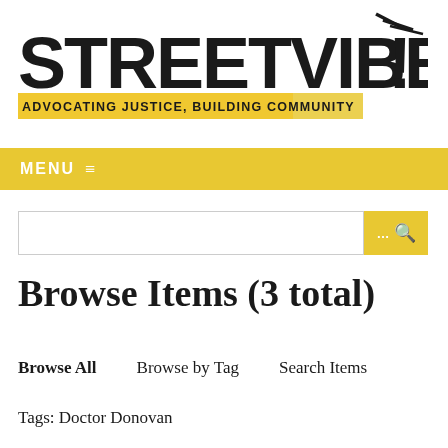[Figure (logo): StreetVibes logo with bold black text 'STREETVIBES!' with decorative slash marks, and a yellow/gold banner reading 'ADVOCATING JUSTICE, BUILDING COMMUNITY']
MENU ≡
Browse Items (3 total)
Browse All
Browse by Tag
Search Items
Tags: Doctor Donovan